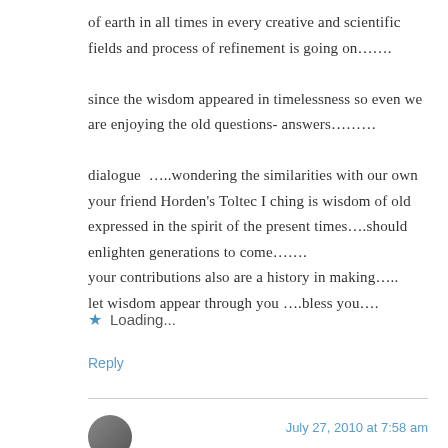of earth in all times in every creative and scientific fields and process of refinement is going on……. since the wisdom appeared in timelessness so even we are enjoying the old questions- answers…….. dialogue …..wondering the similarities with our own your friend Horden's Toltec I ching is wisdom of old expressed in the spirit of the present times….should enlighten generations to come…….
your contributions also are a history in making…..
let wisdom appear through you ….bless you….
Loading...
Reply
July 27, 2010 at 7:58 am